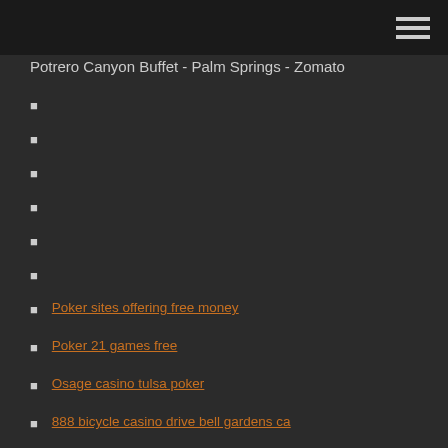Potrero Canyon Buffet - Palm Springs - Zomato
Poker sites offering free money
Poker 21 games free
Osage casino tulsa poker
888 bicycle casino drive bell gardens ca
Casino night cards dice
Silver reef casino ferndale wa
Why gambling is not bad